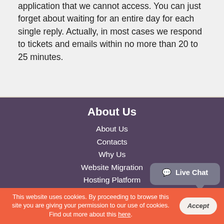application that we cannot access. You can just forget about waiting for an entire day for each single reply. Actually, in most cases we respond to tickets and emails within no more than 20 to 25 minutes.
About Us
About Us
Contacts
Why Us
Website Migration
Hosting Platform
Service Guarantees
Videos
Terms
This website uses cookies. By proceeding to browse this site you are giving your permission to our use of cookies. Find out more about this here.